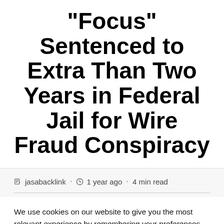“Focus” Sentenced to Extra Than Two Years in Federal Jail for Wire Fraud Conspiracy
jasabacklink · 1 year ago · 4 min read
We use cookies on our website to give you the most relevant experience by remembering your preferences and repeat visits. By clicking “Accept All”, you consent to the use of ALL the cookies. However, you may visit "Cookie Settings" to provide a controlled consent.